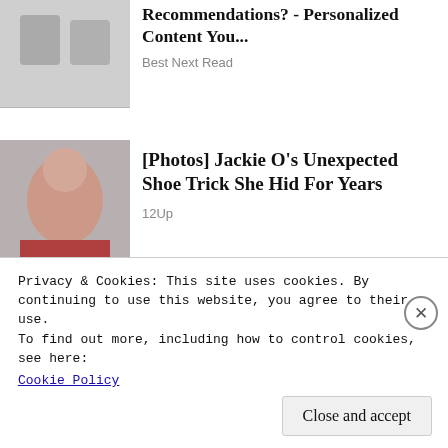[Figure (photo): Two people in business attire shaking hands at a table, office setting, grayscale/muted tones]
Recommendations? - Personalized Content You...
Best Next Read
[Figure (photo): Portrait of Jackie O in vintage red outfit with pearl necklace, black and white tones]
[Photos] Jackie O's Unexpected Shoe Trick She Hid For Years
12Up
[Figure (photo): Group of people outdoors with greenery in the background, muted color]
Privacy & Cookies: This site uses cookies. By continuing to use this website, you agree to their use.
To find out more, including how to control cookies, see here:
Cookie Policy
Close and accept